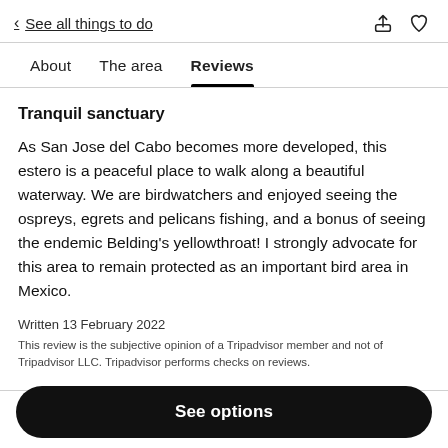< See all things to do
About  The area  Reviews
Tranquil sanctuary
As San Jose del Cabo becomes more developed, this estero is a peaceful place to walk along a beautiful waterway. We are birdwatchers and enjoyed seeing the ospreys, egrets and pelicans fishing, and a bonus of seeing the endemic Belding's yellowthroat! I strongly advocate for this area to remain protected as an important bird area in Mexico.
Written 13 February 2022
This review is the subjective opinion of a Tripadvisor member and not of Tripadvisor LLC. Tripadvisor performs checks on reviews.
See options